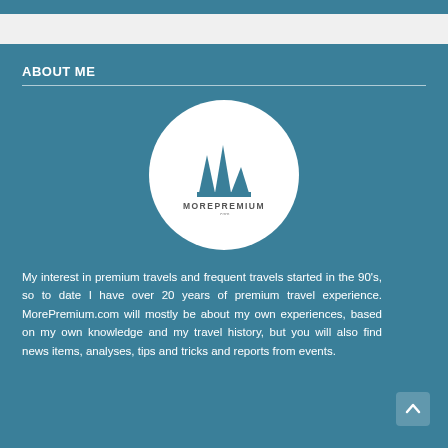ABOUT ME
[Figure (logo): MorePremium.com logo inside a white circle — stylized building/sail icon above the text MOREPREMIUM .com]
My interest in premium travels and frequent travels started in the 90's, so to date I have over 20 years of premium travel experience. MorePremium.com will mostly be about my own experiences, based on my own knowledge and my travel history, but you will also find news items, analyses, tips and tricks and reports from events.